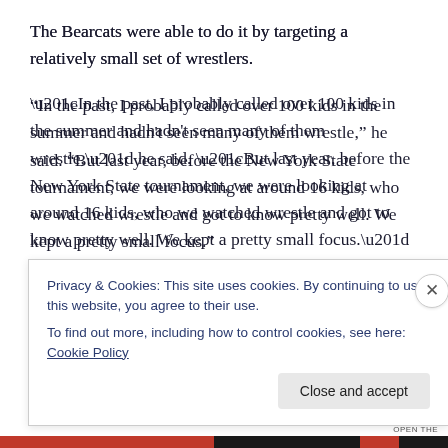The Bearcats were able to do it by targeting a relatively small set of wrestlers.
“In the past, I probably called over 100 kids in the summer and hadn't seen many of them wrestle,” he said. “But last year, before the New York State tournament, we were looking at around 16 kids, who we watched wrestle and got to know pretty well. We kept a pretty small focus.”
With that focus, they were able to emphasize the direction
Privacy & Cookies: This site uses cookies. By continuing to use this website, you agree to their use.
To find out more, including how to control cookies, see here: Cookie Policy